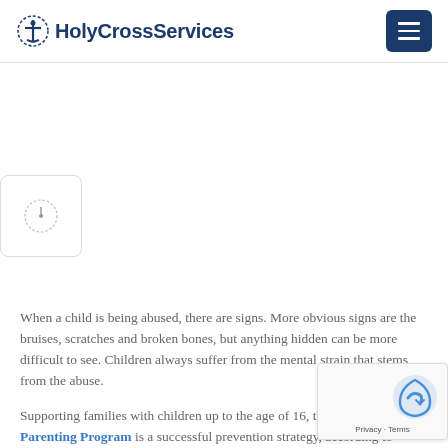HolyCrossServices
[Figure (logo): HolyCrossServices logo with anchor/cross icon and bold navy text]
When a child is being abused, there are signs. More obvious signs are the bruises, scratches and broken bones, but anything hidden can be more difficult to see. Children always suffer from the mental strain that stems from the abuse.
Supporting families with children up to the age of 16, the Positive Parenting Program is a successful prevention strategy, according to Child Welfare Information Gateway.